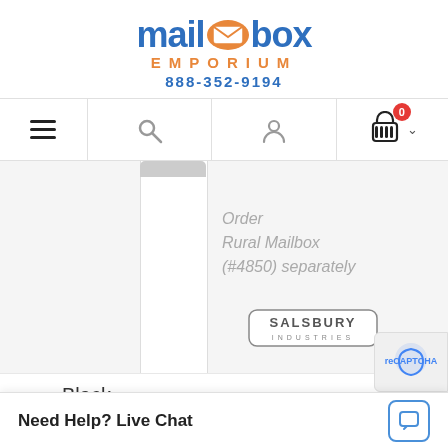[Figure (logo): Mailbox Emporium logo with blue and orange text, envelope icon, and phone number 888-352-9194]
[Figure (screenshot): Website navigation bar with hamburger menu, search icon, user icon, and shopping cart with 0 items]
[Figure (photo): White mailbox post product image with overlay text 'Order Rural Mailbox (#4850) separately' and Salsbury Industries badge]
Black
[Figure (photo): Black mailbox post, partially visible at bottom of page]
Need Help? Live Chat